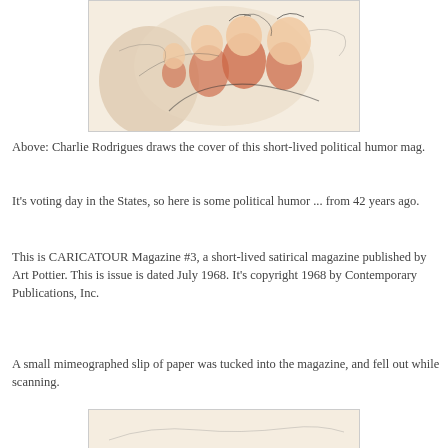[Figure (illustration): Caricature illustration showing political figures in an exaggerated cartoon style with orange/red and black ink tones, appears to be a magazine cover drawing by Charlie Rodrigues]
Above: Charlie Rodrigues draws the cover of this short-lived political humor mag.
It's voting day in the States, so here is some political humor ... from 42 years ago.
This is CARICATOUR Magazine #3, a short-lived satirical magazine published by Art Pottier. This is issue is dated July 1968. It's copyright 1968 by Contemporary Publications, Inc.
A small mimeographed slip of paper was tucked into the magazine, and fell out while scanning.
[Figure (illustration): Bottom portion of another scanned magazine image, partially visible]